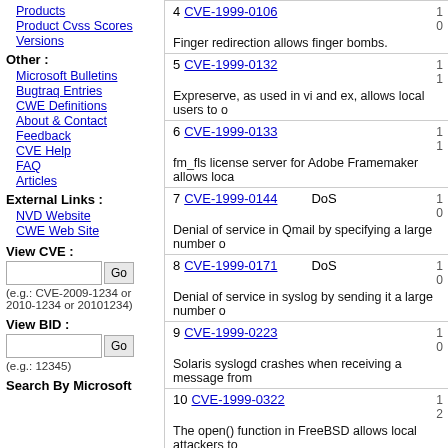Products
Product Cvss Scores
Versions
Other :
Microsoft Bulletins
Bugtraq Entries
CWE Definitions
About & Contact
Feedback
CVE Help
FAQ
Articles
External Links :
NVD Website
CWE Web Site
View CVE :
(e.g.: CVE-2009-1234 or 2010-1234 or 20101234)
View BID :
(e.g.: 12345)
Search By Microsoft
| # | CVE ID | Type | Scores |
| --- | --- | --- | --- |
| 4 | CVE-1999-0106 |  | 1... 0... |
| 5 | CVE-1999-0132 |  | 1... 1... |
| 6 | CVE-1999-0133 |  | 1... 1... |
| 7 | CVE-1999-0144 | DoS | 1... 0... |
| 8 | CVE-1999-0171 | DoS | 1... 0... |
| 9 | CVE-1999-0223 |  | 1... 0... |
| 10 | CVE-1999-0322 |  | 1... 2... |
| 11 | CVE-1999-0327 |  | 1... |
Finger redirection allows finger bombs.
Expreserve, as used in vi and ex, allows local users to o...
fm_fls license server for Adobe Framemaker allows loca...
Denial of service in Qmail by specifying a large number o...
Denial of service in syslog by sending it a large number o...
Solaris syslogd crashes when receiving a message from...
The open() function in FreeBSD allows local attackers to...